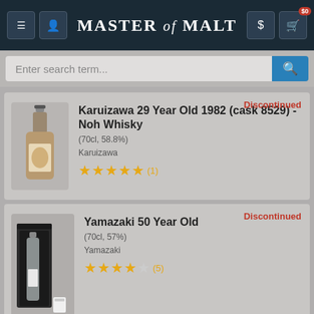Master of Malt
Enter search term...
Discontinued
Karuizawa 29 Year Old 1982 (cask 8529) - Noh Whisky
(70cl, 58.8%)
Karuizawa
★★★★★ (1)
Discontinued
Yamazaki 50 Year Old
(70cl, 57%)
Yamazaki
★★★★☆ (5)